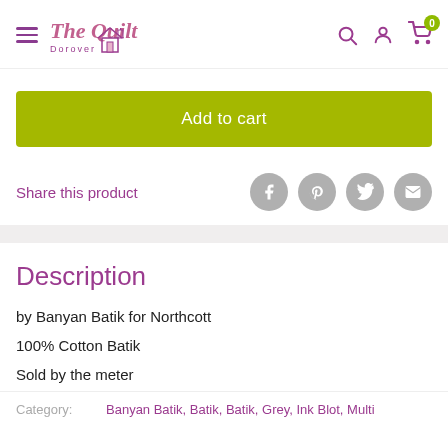The Quilt Dorover — navigation header with search, account, and cart icons
Add to cart
Share this product
Description
by Banyan Batik for Northcott
100% Cotton Batik
Sold by the meter
Category:    Banyan Batik, Batik, Batik, Grey, Ink Blot, Multi